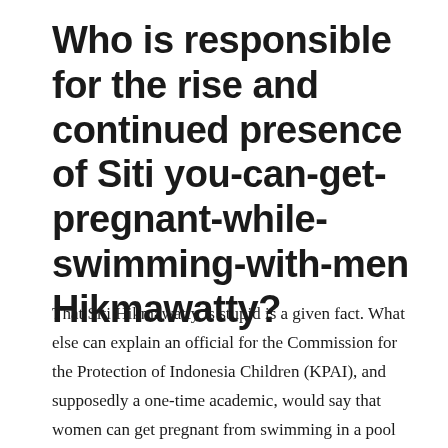Who is responsible for the rise and continued presence of Siti you-can-get-pregnant-while-swimming-with-men Hikmawatty?
That Siti Hikmawatty is stupid is a given fact. What else can explain an official for the Commission for the Protection of Indonesia Children (KPAI), and supposedly a one-time academic, would say that women can get pregnant from swimming in a pool with men?